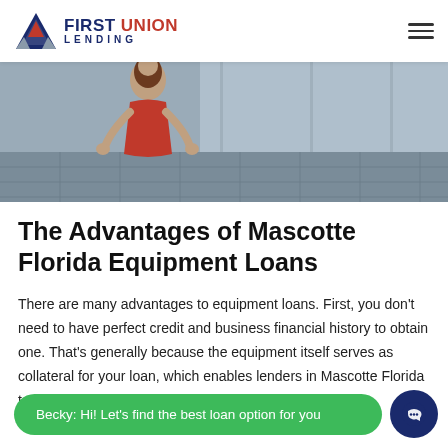First Union Lending
[Figure (photo): Hero image showing a woman in a red dress in an interior space with tiled floor]
The Advantages of Mascotte Florida Equipment Loans
There are many advantages to equipment loans. First, you don't need to have perfect credit and business financial history to obtain one. That's generally because the equipment itself serves as collateral for your loan, which enables lenders in Mascotte Florida to provide fu...
Becky: Hi! Let's find the best loan option for you